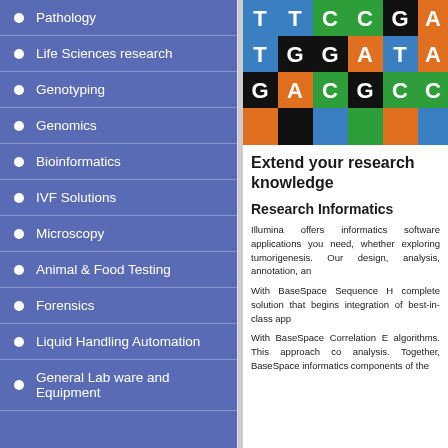Pathology
Life Sciences research
Genotyping
Genomics
Bioinformatics
IVF Solutions
Microscopy
Animal & Food Testing
Forensics
Liquid Handling Automation
General Lab ware and Equipment
[Figure (photo): DNA sequence letters T, C, G, A arranged in a colorful grid on colored tiles (blue, green, orange, black, red)]
Extend your research knowledge
Research Informatics
Illumina offers informatics software applications you need, whether exploring tumorigenesis. Our design, analysis, annotation, a
With BaseSpace Sequence H complete solution that begins integration of best-in-class app
With BaseSpace Correlation E algorithms. This approach co analysis. Together, BaseSpace informatics components of the